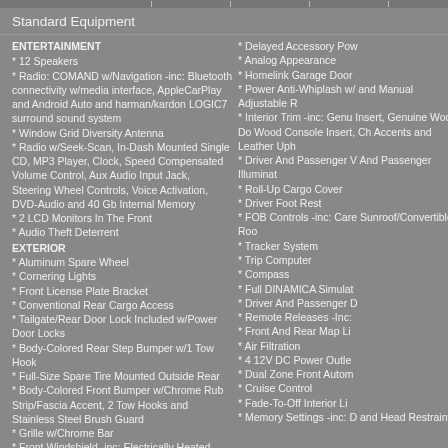Standard Equipment
ENTERTAINMENT
* 12 Speakers
* Radio: COMAND w/Navigation -inc: Bluetooth connectivity w/media interface, AppleCarPlay and Android Auto and harman/kardon LOGIC7 surround sound system
* Window Grid Diversity Antenna
* Radio w/Seek-Scan, In-Dash Mounted Single CD, MP3 Player, Clock, Speed Compensated Volume Control, Aux Audio Input Jack, Steering Wheel Controls, Voice Activation, DVD-Audio and 40 Gb Internal Memory
* 2 LCD Monitors In The Front
* Audio Theft Deterrent
EXTERIOR
* Aluminum Spare Wheel
* Cornering Lights
* Front License Plate Bracket
* Conventional Rear Cargo Access
* Tailgate/Rear Door Lock Included w/Power Door Locks
* Body-Colored Rear Step Bumper w/1 Tow Hook
* Full-Size Spare Tire Mounted Outside Rear
* Body-Colored Front Bumper w/Chrome Rub Strip/Fascia Accent, 2 Tow Hooks and Stainless Steel Brush Guard
* Grille w/Chrome Bar
* Front Windshield -inc: Electrically Heated Glass
* Wheels: 20" AMG Twin 5-Spoke
* Delayed Accessory Power
* Analog Appearance
* Homelink Garage Door
* Power Anti-Whiplash w/ and Manual Adjustable R
* Interior Trim -inc: Genuine Insert, Genuine Wood D Wood Console Insert, Ch Accents and Leather Uph
* Driver And Passenger V And Passenger Illuminat
* Roll-Up Cargo Cover
* Driver Foot Rest
* FOB Controls -inc: Car Sunroof/Convertible Roo
* Tracker System
* Trip Computer
* Compass
* Full DINAMICA Simulat
* Driver And Passenger D
* Remote Releases -Inc:
* Front And Rear Map Li
* Air Filtration
* 4 12V DC Power Outle
* Dual Zone Front Autom
* Cruise Control
* Fade-To-Off Interior Li
* Memory Settings -inc: D and Head Restraints